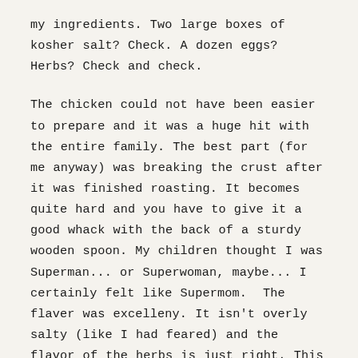my ingredients. Two large boxes of kosher salt? Check. A dozen eggs? Herbs? Check and check.
The chicken could not have been easier to prepare and it was a huge hit with the entire family. The best part (for me anyway) was breaking the crust after it was finished roasting. It becomes quite hard and you have to give it a good whack with the back of a sturdy wooden spoon. My children thought I was Superman... or Superwoman, maybe... I certainly felt like Supermom.  The flaver was excelleny. It isn't overly salty (like I had feared) and the flavor of the herbs is just right. This is definitely going into my dinner arsenal.